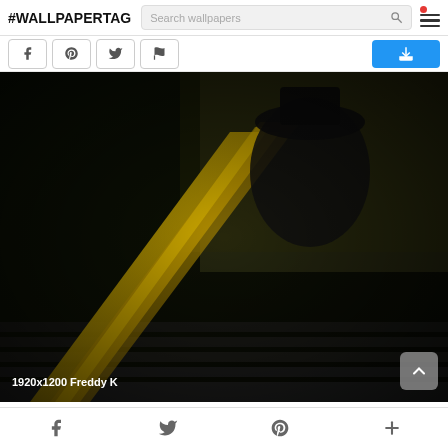#WALLPAPERTAG  [Search wallpapers] [menu]
[Figure (screenshot): Social share buttons row: Facebook, Pinterest, Twitter, Flag, and a blue download button on the right]
[Figure (photo): Dark horror-themed wallpaper showing a shadowy silhouette of a figure with a hat at the top of a dark staircase with a yellow handrail. Label: 1920x1200 Freddy K]
f  [Twitter bird]  p  +